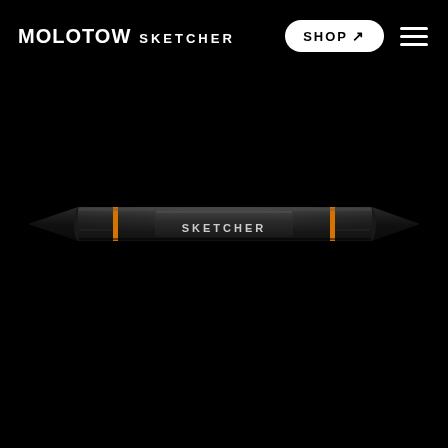MOLOTOW SKETCHER  SHOP ↗ ☰
[Figure (photo): A Molotow Sketcher marker pen shown horizontally on a black background. The marker is dark/black with two orange accent rings near each end, and a label panel in the center reading 'SKETCHER' in white letters on a dark raised panel.]